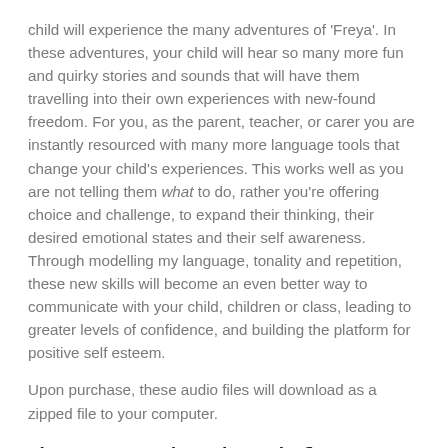child will experience the many adventures of 'Freya'. In these adventures, your child will hear so many more fun and quirky stories and sounds that will have them travelling into their own experiences with new-found freedom. For you, as the parent, teacher, or carer you are instantly resourced with many more language tools that change your child's experiences. This works well as you are not telling them what to do, rather you're offering choice and challenge, to expand their thinking, their desired emotional states and their self awareness. Through modelling my language, tonality and repetition, these new skills will become an even better way to communicate with your child, children or class, leading to greater levels of confidence, and building the platform for positive self esteem.
Upon purchase, these audio files will download as a zipped file to your computer.
What you need to know before Downloading our Audio Files